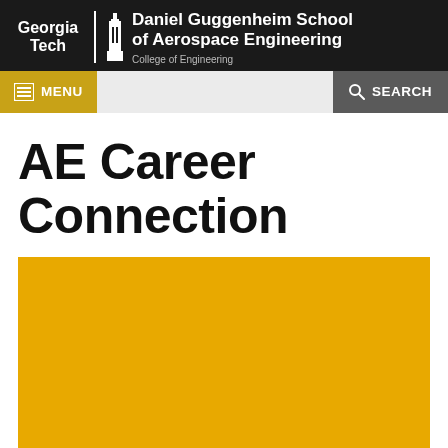Georgia Tech | Daniel Guggenheim School of Aerospace Engineering | College of Engineering
MENU
SEARCH
AE Career Connection
[Figure (photo): Large golden/yellow rectangular image area below the page title]